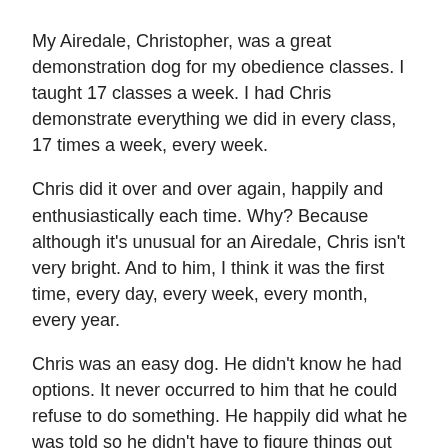My Airedale, Christopher, was a great demonstration dog for my obedience classes. I taught 17 classes a week. I had Chris demonstrate everything we did in every class, 17 times a week, every week.
Chris did it over and over again, happily and enthusiastically each time. Why? Because although it's unusual for an Airedale, Chris isn't very bright. And to him, I think it was the first time, every day, every week, every month, every year.
Chris was an easy dog. He didn't know he had options. It never occurred to him that he could refuse to do something. He happily did what he was told so he didn't have to figure things out on his own.
Smart dogs get bored